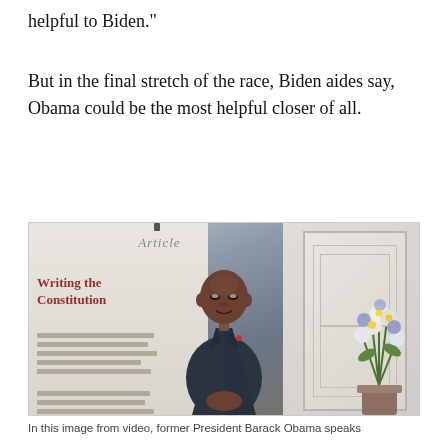helpful to Biden.”
But in the final stretch of the race, Biden aides say, Obama could be the most helpful closer of all.
[Figure (photo): Former President Barack Obama standing in front of a display reading 'Writing the Constitution', wearing a dark suit with blue tie, hands clasped, with a floral arrangement to his right.]
In this image from video, former President Barack Obama speaks